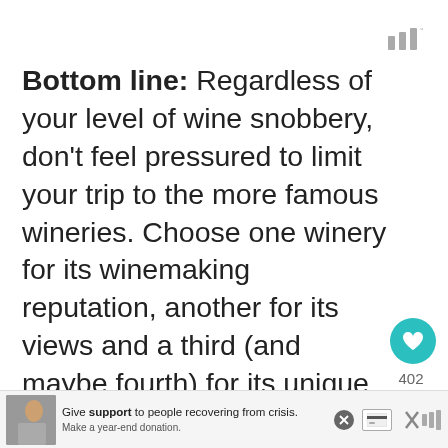[Figure (logo): Wunderbucket or similar app logo — three vertical bars with degree symbol]
Bottom line: Regardless of your level of wine snobbery, don't feel pressured to limit your trip to the more famous wineries. Choose one winery for its winemaking reputation, another for its views and a third (and maybe fourth) for its unique and/or beautiful tasting room.
And in order to find the best wineries for your tastes, always do your research in advance. If you leave your visits on a whim
[Figure (screenshot): What's Next promotional overlay showing a person and text 'How to Spend A Perfect Da...']
[Figure (screenshot): Advertisement banner: Give support to people recovering from crisis. Make a year-end donation.]